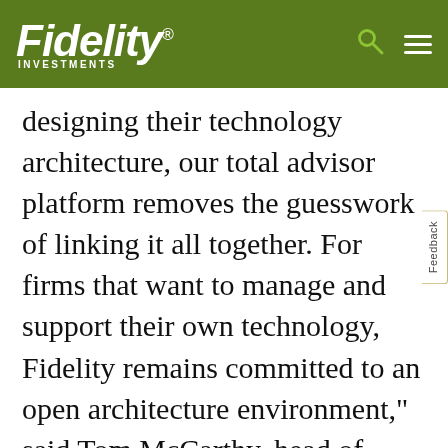Fidelity Investments
designing their technology architecture, our total advisor platform removes the guesswork of linking it all together. For firms that want to manage and support their own technology, Fidelity remains committed to an open architecture environment," said Tom McCarthy, head of platform technology for Fidelity Institutional. "Today, we have rolled out the first products available on our total advisor platform, allowing clients to start taking advantage of new tools that suit their needs. Over time, they can add on